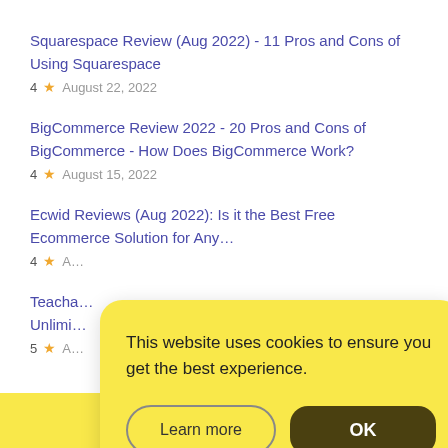Squarespace Review (Aug 2022) - 11 Pros and Cons of Using Squarespace
4 ★  August 22, 2022
BigCommerce Review 2022 - 20 Pros and Cons of BigCommerce - How Does BigCommerce Work?
4 ★  August 15, 2022
Ecwid Reviews (Aug 2022): Is it the Best Free Ecommerce Solution for Any...
4 ★  A...
Teacha...
Unlimi...
5 ★  A...
This website uses cookies to ensure you get the best experience.
Learn more
OK